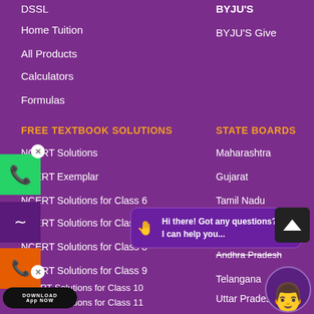DSSL
Home Tuition
All Products
Calculators
Formulas
BYJU'S
BYJU'S Give
FREE TEXTBOOK SOLUTIONS
STATE BOARDS
NCERT Solutions
NCERT Exemplar
NCERT Solutions for Class 6
NCERT Solutions for Class 7
NCERT Solutions for Class 8
NCERT Solutions for Class 9
NCERT Solutions for Class 10
NCERT Solutions for Class 11
NCERT Solutions for Class 11 English
Maharashtra
Gujarat
Tamil Nadu
Karnataka
Andhra Pradesh
Telangana
Uttar Pradesh
Bihar